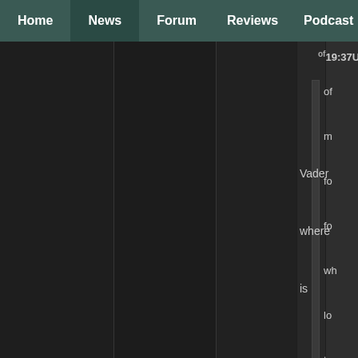Home | News | Forum | Reviews | Podcast
19:37UTC
of
m
fo
fo
wh
lo
to
tr
ga
m
th
pr
th
Vader
where
is